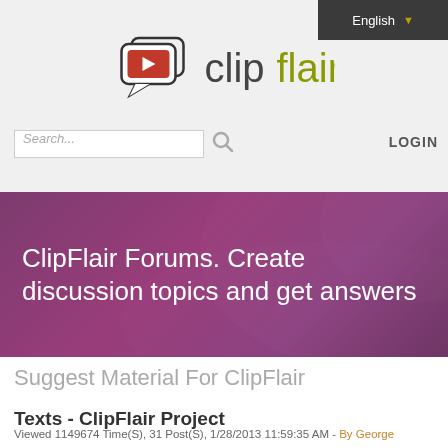English
[Figure (logo): ClipFlair logo with speech bubble icon containing a red video play button, text 'clip' in dark and 'flair' in olive/yellow-green color]
Search...
LOGIN
ClipFlair Forums. Create discussion topics and get answers
Suggest Material For ClipFlair
Texts - ClipFlair Project
Viewed 1149674 Time(S), 31 Post(S), 1/28/2013 11:59:35 AM - By George